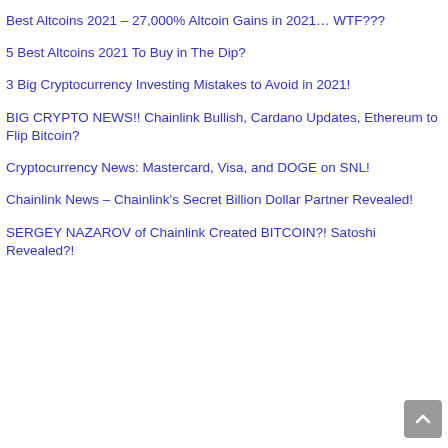Best Altcoins 2021 – 27,000% Altcoin Gains in 2021… WTF???
5 Best Altcoins 2021 To Buy in The Dip?
3 Big Cryptocurrency Investing Mistakes to Avoid in 2021!
BIG CRYPTO NEWS!! Chainlink Bullish, Cardano Updates, Ethereum to Flip Bitcoin?
Cryptocurrency News: Mastercard, Visa, and DOGE on SNL!
Chainlink News – Chainlink's Secret Billion Dollar Partner Revealed!
SERGEY NAZAROV of Chainlink Created BITCOIN?! Satoshi Revealed?!